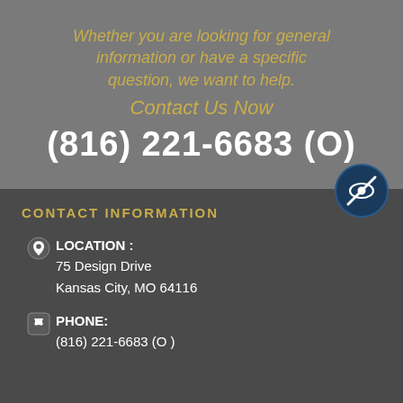Whether you are looking for general information or have a specific question, we want to help.
Contact Us Now
(816) 221-6683 (O)
CONTACT INFORMATION
LOCATION : 75 Design Drive Kansas City, MO 64116
PHONE: (816) 221-6683 (O )